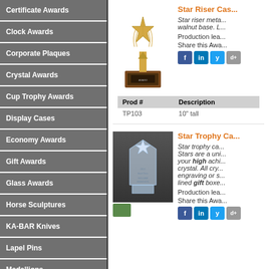Certificate Awards
Clock Awards
Corporate Plaques
Crystal Awards
Cup Trophy Awards
Display Cases
Economy Awards
Gift Awards
Glass Awards
Horse Sculptures
KA-BAR Knives
Lapel Pins
Medallions
Perpetual Plaques
Resin Sport Trophies
Stone Awards
Trophies | Resin
Star Riser Cas...
Star riser meta... walnut base. L...
Production lea...
Share this Awa...
[Figure (photo): Gold star riser trophy on walnut base]
| Prod # | Description |
| --- | --- |
| TP103 | 10" tall |
Star Trophy Ca...
Star trophy ca... Stars are a uni... your high achi... crystal. All cry... engraving or s... lined gift boxe...
Production lea...
Share this Awa...
[Figure (photo): Clear crystal star trophy]